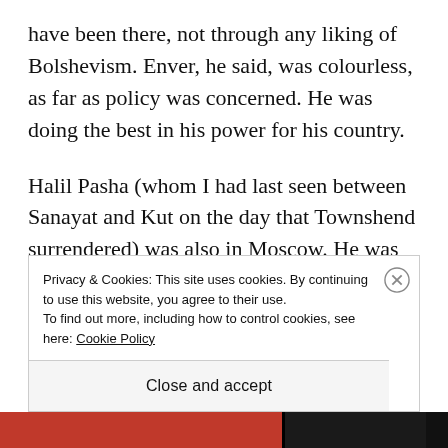have been there, not through any liking of Bolshevism. Enver, he said, was colourless, as far as policy was concerned. He was doing the best in his power for his country.
Halil Pasha (whom I had last seen between Sanayat and Kut on the day that Townshend surrendered) was also in Moscow. He was an exception, and had a penchant towards communism. Djemal Pasha was
Privacy & Cookies: This site uses cookies. By continuing to use this website, you agree to their use.
To find out more, including how to control cookies, see here: Cookie Policy
Close and accept